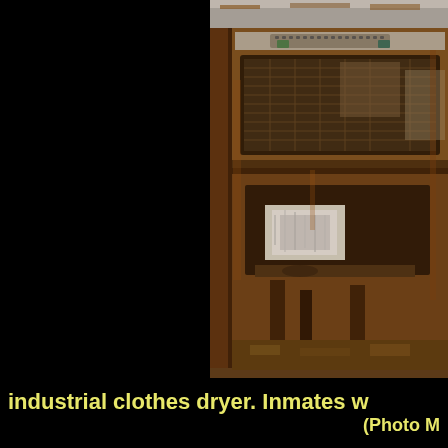[Figure (photo): Close-up photograph of a heavily rusted and deteriorated industrial clothes dryer interior, showing corroded metal framework, a mesh/grate drum opening, and degraded components with visible rust and grime throughout.]
industrial clothes dryer. Inmates w... (Photo M...